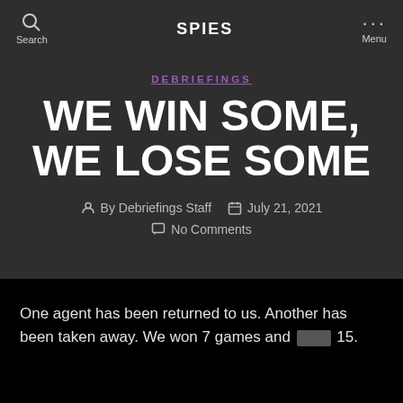Search | SPIES | Menu
DEBRIEFINGS
WE WIN SOME, WE LOSE SOME
By Debriefings Staff  July 21, 2021  No Comments
One agent has been returned to us. Another has been taken away. We won 7 games and [redacted] 15.